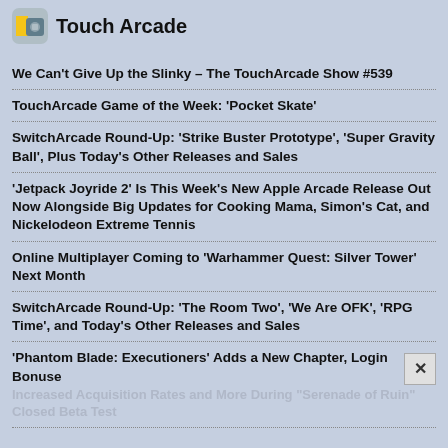Touch Arcade
We Can't Give Up the Slinky – The TouchArcade Show #539
TouchArcade Game of the Week: 'Pocket Skate'
SwitchArcade Round-Up: 'Strike Buster Prototype', 'Super Gravity Ball', Plus Today's Other Releases and Sales
'Jetpack Joyride 2' Is This Week's New Apple Arcade Release Out Now Alongside Big Updates for Cooking Mama, Simon's Cat, and Nickelodeon Extreme Tennis
Online Multiplayer Coming to 'Warhammer Quest: Silver Tower' Next Month
SwitchArcade Round-Up: 'The Room Two', 'We Are OFK', 'RPG Time', and Today's Other Releases and Sales
'Phantom Blade: Executioners' Adds a New Chapter, Login Bonuses, Increased Acquisition Rates and More During "Serenade of Ruin" Closed Beta Test